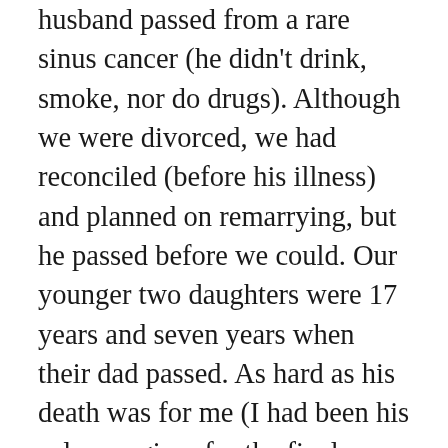husband passed from a rare sinus cancer (he didn't drink, smoke, nor do drugs). Although we were divorced, we had reconciled (before his illness) and planned on remarrying, but he passed before we could. Our younger two daughters were 17 years and seven years when their dad passed. As hard as his death was for me (I had been his sole caregiver for the final year of his life), I knew I had to keep myself together for their sake. I managed to do it but it I have to give God all the glory because I believe He is what helped me get through my grief. Losing my daughter (and I've lost a lot of loved ones since then, including my mom, and my dad's parents – who I was very close to and who mainly raised me) was the toughest death I have ever faced